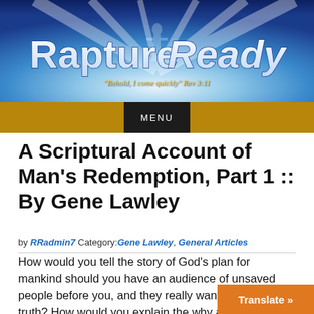[Figure (screenshot): Rapture Ready website header banner with blue sky and clouds background, 'Rapture Ready' logo text in white, tagline 'Behold, I come quickly - Rev 3:11', and golden/brown navigation bar with black MENU button]
A Scriptural Account of Man's Redemption, Part 1 :: By Gene Lawley
by RRadmin7 Category:Gene Lawley, General Articles
How would you tell the story of God's plan for mankind should you have an audience of unsaved people before you, and they really wanted to know the truth? How would you explain the why and how of God's intention